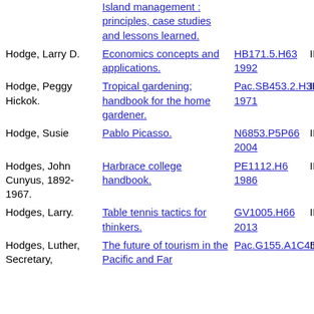| Author | Title | Call Number | Status |
| --- | --- | --- | --- |
|  | Island management : principles, case studies and lessons learned. |  |  |
| Hodge, Larry D. | Economics concepts and applications. | HB171.5.H63 1992 | IN |
| Hodge, Peggy Hickok. | Tropical gardening; handbook for the home gardener. | Pac.SB453.2.H3H6 1971 | IN |
| Hodge, Susie | Pablo Picasso. | N6853.P5P66 2004 | IN |
| Hodges, John Cunyus, 1892-1967. | Harbrace college handbook. | PE1112.H6 1986 | IN |
| Hodges, Larry. | Table tennis tactics for thinkers. | GV1005.H66 2013 | IN |
| Hodges, Luther, Secretary, | The future of tourism in the Pacific and Far | Pac.G155.A1C45 | IN |